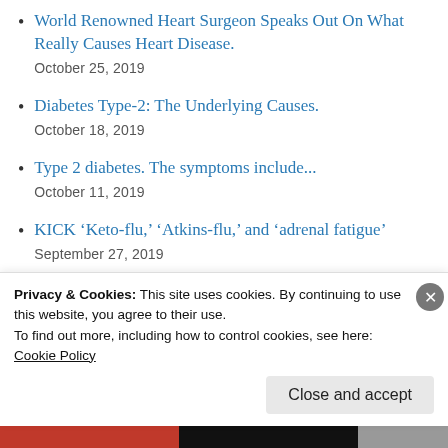World Renowned Heart Surgeon Speaks Out On What Really Causes Heart Disease.
October 25, 2019
Diabetes Type-2: The Underlying Causes.
October 18, 2019
Type 2 diabetes. The symptoms include...
October 11, 2019
KICK ‘Keto-flu,’ ‘Atkins-flu,’ and ‘adrenal fatigue’
September 27, 2019
Managing Potassium and Sodium On a...
Privacy & Cookies: This site uses cookies. By continuing to use this website, you agree to their use.
To find out more, including how to control cookies, see here:
Cookie Policy
Close and accept